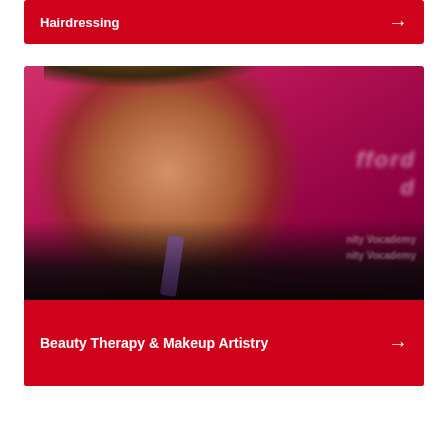Hairdressing
[Figure (photo): Young woman smiling, wearing a black jacket and purple lanyard, photographed against a bright pink/magenta background with blurred white text signage visible behind her.]
Beauty Therapy & Makeup Artistry